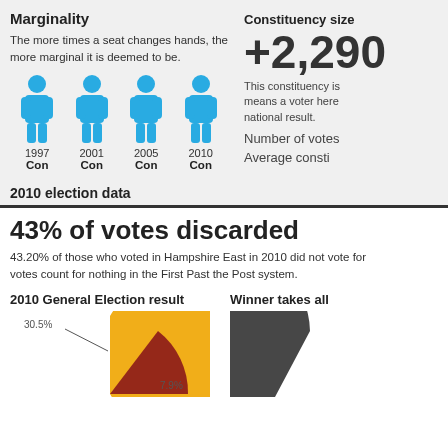Marginality
The more times a seat changes hands, the more marginal it is deemed to be.
[Figure (infographic): Four blue human figure icons representing election winners in 1997 (Con), 2001 (Con), 2005 (Con), 2010 (Con)]
Constituency size
+2,290
This constituency is... means a voter here... national result.
Number of votes...
Average consti...
2010 election data
43% of votes discarded
43.20% of those who voted in Hampshire East in 2010 did not vote for the winner. These votes count for nothing in the First Past the Post system.
2010 General Election result
Winner takes all
[Figure (pie-chart): Pie chart showing 2010 General Election result with 30.5% and 7.9% labeled slices in gold, dark red, and other colors]